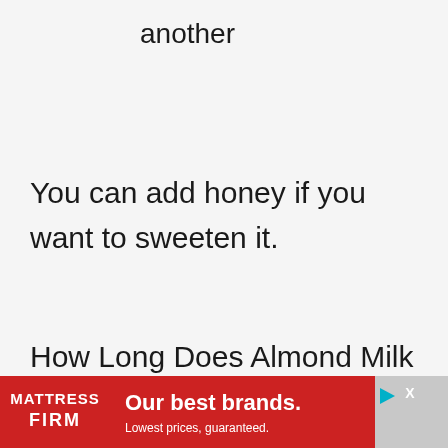another
You can add honey if you want to sweeten it.
How Long Does Almond Milk Last?
Almond milk that is shelf-stable typically can last for one year, It will have a date prominently stamped on the c
[Figure (other): Mattress Firm advertisement banner: red background with Mattress Firm logo on left, text 'Our best brands. Lowest prices, guaranteed.' on right, with play and close icons in top right corner.]